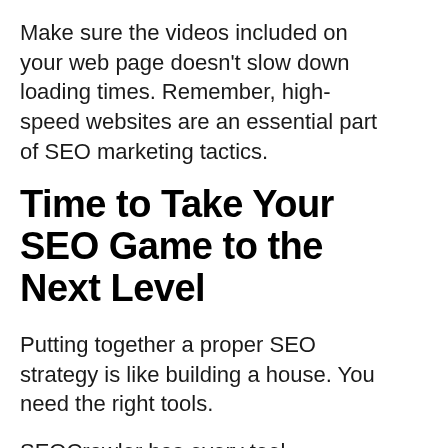Make sure the videos included on your web page doesn't slow down loading times. Remember, high-speed websites are an essential part of SEO marketing tactics.
Time to Take Your SEO Game to the Next Level
Putting together a proper SEO strategy is like building a house. You need the right tools.
SEOCrawler has every tool imaginable to give you an edge over your competition. You can check your SEO rankings, see where your competitors are, look for backlinks, and more.
The best part is that you can try the service for free!